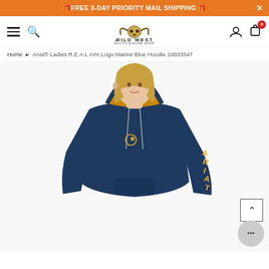🎁FREE 3-DAY PRIORITY MAIL SHIPPING 🎁
[Figure (logo): Wild West boots and more shop logo with longhorn skull icon]
Home ▶ Ariat® Ladies R.E.A.L Arm Logo Marine Blue Hoodie 10033547
[Figure (photo): Woman wearing a navy blue Ariat hoodie with yellow ARIAT text on the sleeve and gold-lined hood]